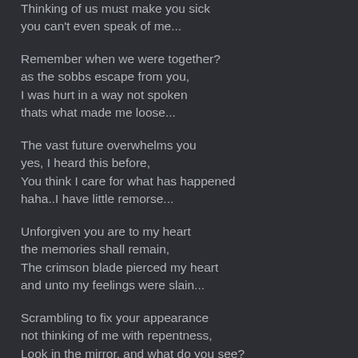Thinking of us must make you sick
you can't even speak of me...
Remember when we were together?
as the sobbs escape from you,
I was hurt in a way not spoken
thats what made me loose...
The vast future overwhelms you
yes, I heard this before,
You think I care for what has happened
haha..I have little remorse...
Unforgiven you are to my heart
the memories shall remain,
The crimson blade pierced my heart
and unto my feelings were slain...
Scrambling to fix your appearance
not thinking of me with repentness,
Look in the mirror, and what do you see?
A plain figure, souless, heartless...
You took my heart away from me
and never even give a care,